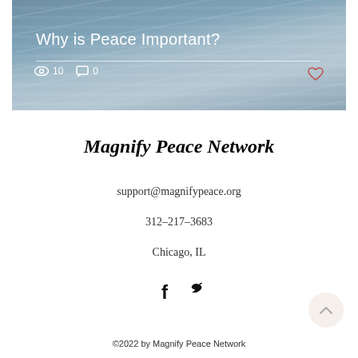[Figure (screenshot): Hero image showing a calm water surface with the title 'Why is Peace Important?' in white text, a horizontal white line beneath, and metadata showing an eye icon with 10 views and a comment icon with 0 comments, plus a heart icon on the right.]
Magnify Peace Network
support@magnifypeace.org
312-217-3683
Chicago, IL
[Figure (illustration): Social media icons: Facebook (f) and Twitter (bird) in black]
©2022 by Magnify Peace Network